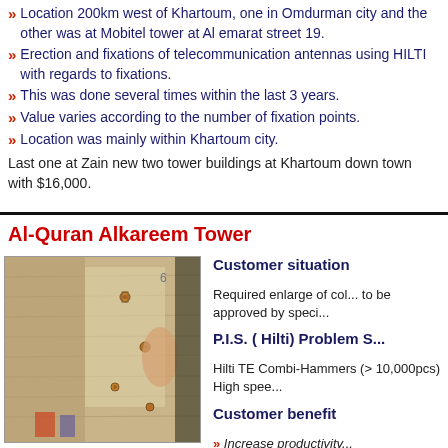» Location 200km west of Khartoum, one in Omdurman city and the other was at Mobitel tower at Al emarat street 19.
» Erection and fixations of telecommunication antennas using HILTI with regards to fixations.
» This was done several times within the last 3 years.
» Value varies according to the number of fixation points.
» Location was mainly within Khartoum city.
Last one at Zain new two tower buildings at Khartoum down town with $16,000.
Al-Quran Alkareem Tower
[Figure (photo): Photo of a concrete wall with anchor bolts or fixation hardware installed, construction site interior]
Customer situation
Required enlarge of col... to be approved by speci...
P.I.S. ( Hilti) Problem S...
Hilti TE Combi-Hammers (> 10,000pcs) High spee...
Customer benefit
» Increase productivity...